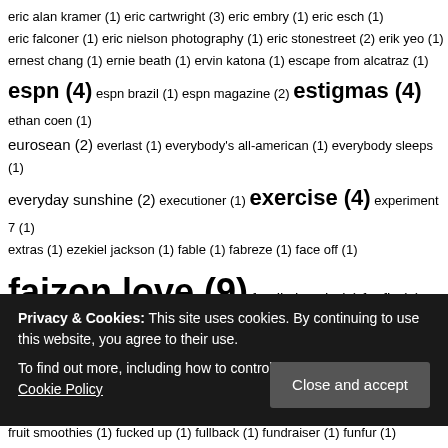eric alan kramer (1) eric cartwright (3) eric embry (1) eric esch (1) eric falconer (1) eric nielson photography (1) eric stonestreet (2) erik yeo (1) ernest chang (1) ernie beath (1) ervin katona (1) escape from alcatraz (1) espn (4) espn brazil (1) espn magazine (2) estigmas (4) ethan coen (1) eurosean (2) everlast (1) everybody's all-american (1) everybody sleeps (1) everyday sunshine (2) executioner (1) exercise (4) experiment 7 (1) extras (1) ezekiel jackson (1) fable (1) fabreze (1) face off (1) faizon love (9) family bonds (2) fanfic (2) fan fiction (4) fans (1) fantastic four (1) fantastic planet (1) fantasy (4) fatboy dan (1) fatboydanfishing (1) fat fuck barrel boy (1) fat guy stuck in internet (1) father's day (1) fat samurai (1) fearmakers (1) feast (1) fedor emelianenko (1) ferris beuller (1) festus (4) festus dalton (1) fetish (6) figher (1) fight scene (1) fight the youth (1) figures (1) fiji (1) filipino (5) filmbear (1) filmmaker (1) film noir (1) film threat (1) final fight (1) final four (1) finding amanda (1) fink (1) fishbone (4) fishing (1) flannel (1) flash fair (1) flash forward (1) flemming rasmussen (1) flex (1) flexing (17) flickr (2) flickrbingmindsearch (1) fun game (1) folsom prison blues (1) fool's gold (1)
Privacy & Cookies: This site uses cookies. By continuing to use this website, you agree to their use. To find out more, including how to control cookies, see here: Cookie Policy
fruit smoothies (1) fucked up (1) fullback (1) fundraiser (1) funfur (1)